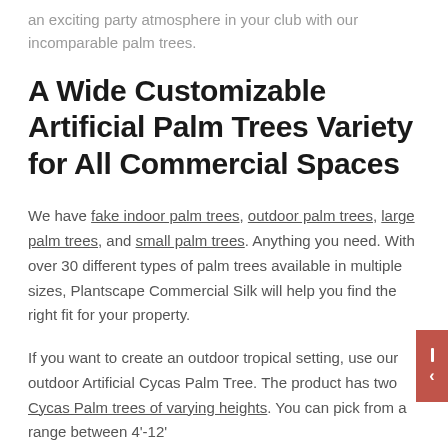an exciting party atmosphere in your club with our incomparable palm trees.
A Wide Customizable Artificial Palm Trees Variety for All Commercial Spaces
We have fake indoor palm trees, outdoor palm trees, large palm trees, and small palm trees. Anything you need. With over 30 different types of palm trees available in multiple sizes, Plantscape Commercial Silk will help you find the right fit for your property.
If you want to create an outdoor tropical setting, use our outdoor Artificial Cycas Palm Tree. The product has two Cycas Palm trees of varying heights. You can pick from a range between 4'-12'